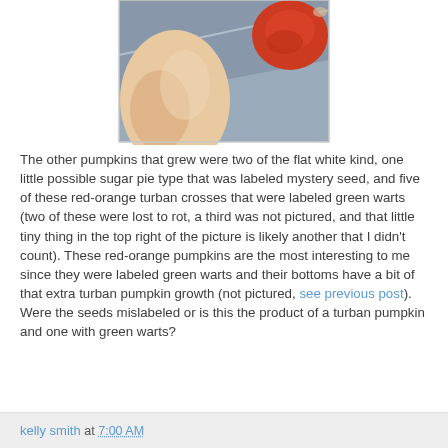[Figure (photo): Close-up photo of pumpkins on stone steps — a pale peach/cream flat pumpkin on the left and a red-orange turban-type pumpkin on the upper right, on a blue-gray stone step surface.]
The other pumpkins that grew were two of the flat white kind, one little possible sugar pie type that was labeled mystery seed, and five of these red-orange turban crosses that were labeled green warts (two of these were lost to rot, a third was not pictured, and that little tiny thing in the top right of the picture is likely another that I didn't count). These red-orange pumpkins are the most interesting to me since they were labeled green warts and their bottoms have a bit of that extra turban pumpkin growth (not pictured, see previous post). Were the seeds mislabeled or is this the product of a turban pumpkin and one with green warts?
kelly smith at 7:00 AM